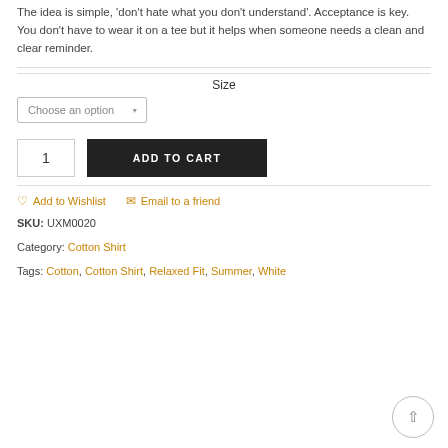The idea is simple, 'don't hate what you don't understand'. Acceptance is key. You don't have to wear it on a tee but it helps when someone needs a clean and clear reminder.
Size
Choose an option
1
ADD TO CART
Add to Wishlist
Email to a friend
SKU: UXM0020
Category: Cotton Shirt
Tags: Cotton, Cotton Shirt, Relaxed Fit, Summer, White